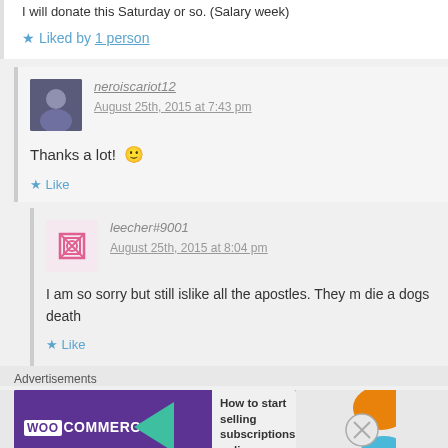I will donate this Saturday or so. (Salary week)
★ Liked by 1 person
neroiscariot12
August 25th, 2015 at 7:43 pm
Thanks a lot! 🙂
★ Like
leecher#9001
August 25th, 2015 at 8:04 pm
I am so sorry but still islike all the apostles. They m die a dogs death
★ Like
Advertisements
[Figure (screenshot): WooCommerce ad banner: 'How to start selling subscriptions online']